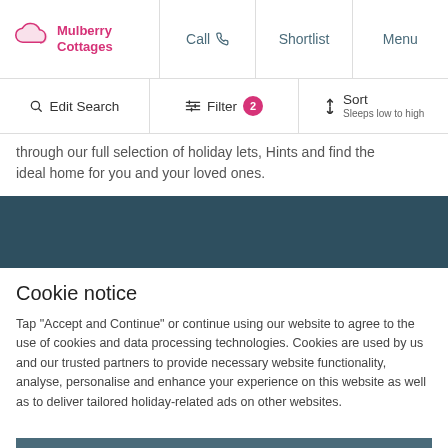Mulberry Cottages | Call | Shortlist | Menu
Edit Search | Filter 2 | Sort Sleeps low to high
through our full selection of holiday lets, Hints and find the ideal home for you and your loved ones.
Cookie notice
Tap "Accept and Continue" or continue using our website to agree to the use of cookies and data processing technologies. Cookies are used by us and our trusted partners to provide necessary website functionality, analyse, personalise and enhance your experience on this website as well as to deliver tailored holiday-related ads on other websites.
ACCEPT AND CONTINUE